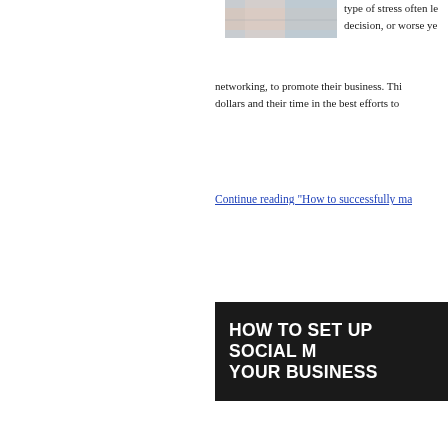[Figure (photo): Partial photo clipped at top, appears to show a business/office scene]
type of stress often le decision, or worse ye networking, to promote their business. Thi dollars and their time in the best efforts to
Continue reading "How to successfully ma
HOW TO SET UP SOCIAL M YOUR BUSINESS
[Figure (photo): Professional businesswoman in a suit holding a tablet/device, smiling, standing outdoors]
There is no arguing wit new frontier, for busine such as Facebook, twe your company blog, bu paying big dividends, w Savvy business owner: new form of marketing However, it is crucial to for optimal results. You will want to have and still maintaining your professionalis market.Here is what you need to know a your business-